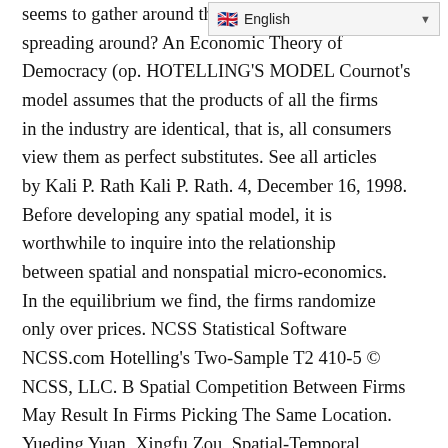[Figure (screenshot): Language selector widget showing English with a flag icon and dropdown arrow]
seems to gather around the s... spreading around? An Economic Theory of Democracy (op. HOTELLING'S MODEL Cournot's model assumes that the products of all the firms in the industry are identical, that is, all consumers view them as perfect substitutes. See all articles by Kali P. Rath Kali P. Rath. 4, December 16, 1998. Before developing any spatial model, it is worthwhile to inquire into the relationship between spatial and nonspatial micro-economics. In the equilibrium we find, the firms randomize only over prices. NCSS Statistical Software NCSS.com Hotelling's Two-Sample T2 410-5 © NCSS, LLC. B Spatial Competition Between Firms May Result In Firms Picking The Same Location. Yueding Yuan, Xingfu Zou, Spatial-Temporal Dynamics of a Diffusive Lotka–Volterra Competition Model with a Shifting Habitat II: Case of Faster Diffuser Being a Weaker Competitor.